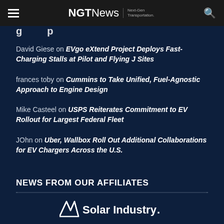NGTNews | Next-Gen Transportation.
David Giese on EVgo eXtend Project Deploys Fast-Charging Stalls at Pilot and Flying J Sites
frances toby on Cummins to Take Unified, Fuel-Agnostic Approach to Engine Design
Mike Casteel on USPS Reiterates Commitment to EV Rollout for Largest Federal Fleet
JOhn on Uber, Wallbox Roll Out Additional Collaborations for EV Chargers Across the U.S.
NEWS FROM OUR AFFILIATES
[Figure (logo): Solar Industry magazine logo with stylized checkmark/wing icon]